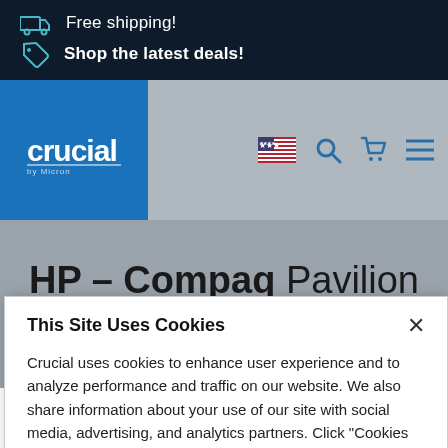Free shipping! Shop the latest deals!
[Figure (logo): Crucial by Micron logo on blue background with navigation icons: US flag, search, cart, hamburger menu]
HP – Compaq Pavilion p6790kr RAM & SSD
This Site Uses Cookies
Crucial uses cookies to enhance user experience and to analyze performance and traffic on our website. We also share information about your use of our site with social media, advertising, and analytics partners. Click "Cookies Settings" to manage your preferences. For more information, see our Cookie Policy.